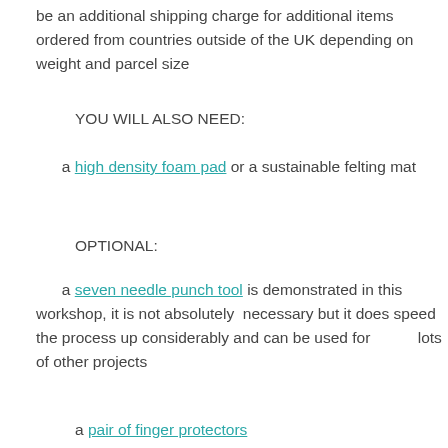be an additional shipping charge for additional items ordered from countries outside of the UK depending on weight and parcel size
YOU WILL ALSO NEED:
a high density foam pad or a sustainable felting mat
OPTIONAL:
a seven needle punch tool is demonstrated in this workshop, it is not absolutely necessary but it does speed the process up considerably and can be used for lots of other projects
a pair of finger protectors